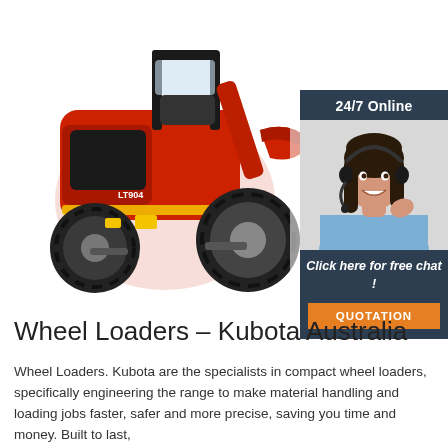[Figure (photo): Red compact wheel loader (Kubota LT904) photographed at an angle, showing large black rubber tires, cab with black roll cage, orange/yellow hazard markings. White background.]
[Figure (infographic): Dark navy blue panel with '24/7 Online' header text, a photo of a smiling woman with a headset (customer service agent), italic text 'Click here for free chat!', and an orange button labeled 'QUOTATION'.]
Wheel Loaders – Kubota Australia
Wheel Loaders. Kubota are the specialists in compact wheel loaders, specifically engineering the range to make material handling and loading jobs faster, safer and more precise, saving you time and money. Built to last,